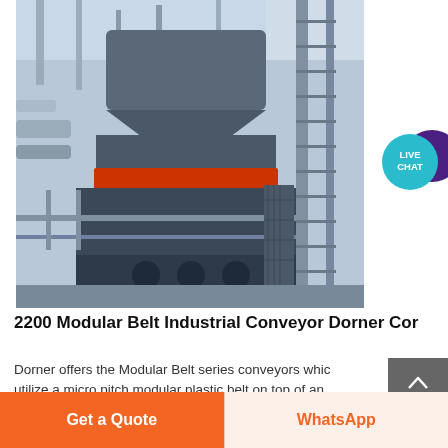[Figure (photo): Industrial conveyor machine with heavy-duty dark grey metallic body, red accent stripe, steel frame and railings, inside a large industrial facility with high ceilings and steel beams]
2200 Modular Belt Industrial Conveyor Dorner Cor
Dorner offers the Modular Belt series conveyors which utilize a micro pitch modular plastic belt on top of an
Get a Quote
WhatsApp